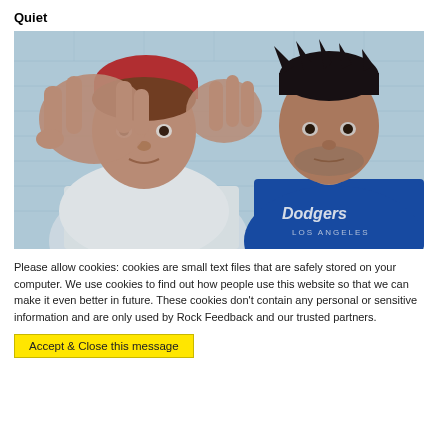Quiet
[Figure (photo): Two young men standing in front of a white brick wall. The man on the left wears a white graphic t-shirt and is making a frame gesture with his hands toward the camera, wearing a red beanie. The man on the right wears a blue Dodgers t-shirt and has dark spiky hair with stubble.]
Please allow cookies: cookies are small text files that are safely stored on your computer. We use cookies to find out how people use this website so that we can make it even better in future. These cookies don't contain any personal or sensitive information and are only used by Rock Feedback and our trusted partners.
Accept & Close this message